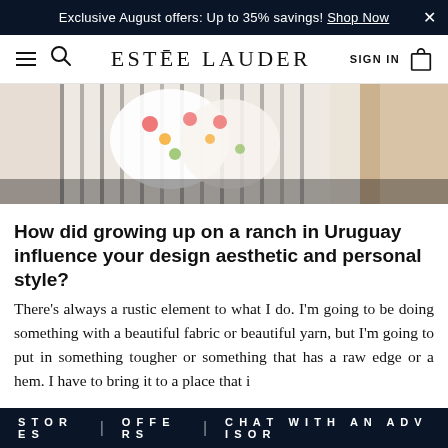Exclusive August offers: Up to 35% savings! Shop Now
ESTĒE LAUDER  SIGN IN
[Figure (photo): A close-up photo showing colorful floral fabric or clothing hanging, with a warm wooden/rustic background.]
How did growing up on a ranch in Uruguay influence your design aesthetic and personal style?
There's always a rustic element to what I do. I'm going to be doing something with a beautiful fabric or beautiful yarn, but I'm going to put in something tougher or something that has a raw edge or a hem. I have to bring it to a place that is not too clean, not too...
STORES  |  OFFERS  |  CHAT WITH AN ADVISOR